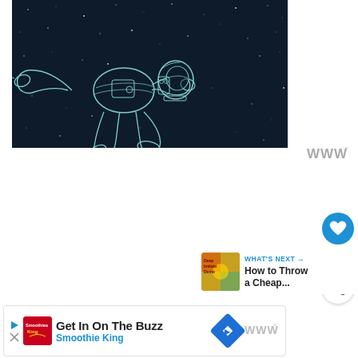[Figure (illustration): Dark space background with white dot stars and a line-art illustration of an astronaut floating horizontally, drawn in teal/white outline style]
[Figure (logo): Wattpad triple-W logo with degree symbol, grey color]
[Figure (infographic): Heart/like button (blue circle with white heart) showing count of 4, and a share button (white circle with share icon)]
4
WHAT'S NEXT → How to Throw a Cheap...
Get In On The Buzz
Smoothie King